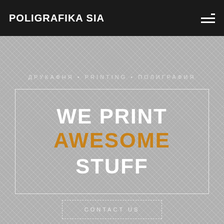POLIGRAFIKA SIA
ДРУКАФНЯ • PRINTING • ПОЛИГРАФИЯ
WE PRINT AWESOME STUFF
CONTACT US